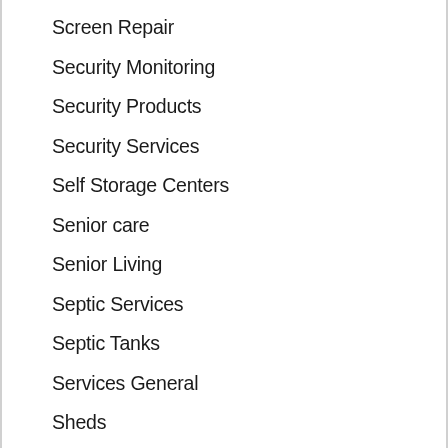Screen Repair
Security Monitoring
Security Products
Security Services
Self Storage Centers
Senior care
Senior Living
Septic Services
Septic Tanks
Services General
Sheds
Shopping
Shuttle Services
Siding
Siding Contractors